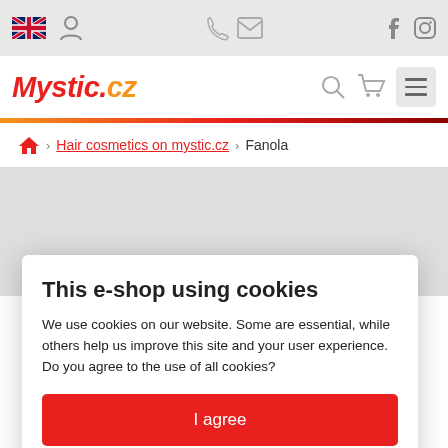[Figure (screenshot): Top navigation bar with UK flag icon, user icon, phone icon, email icon, Facebook and Instagram icons on grey background]
[Figure (logo): Mystic.cz logo in red/orange italic bold font, with search, cart and hamburger menu icons]
[Figure (other): Gradient separator line from orange to dark red]
Hair cosmetics on mystic.cz › Fanola
This e-shop using cookies
We use cookies on our website. Some are essential, while others help us improve this site and your user experience. Do you agree to the use of all cookies?
I agree